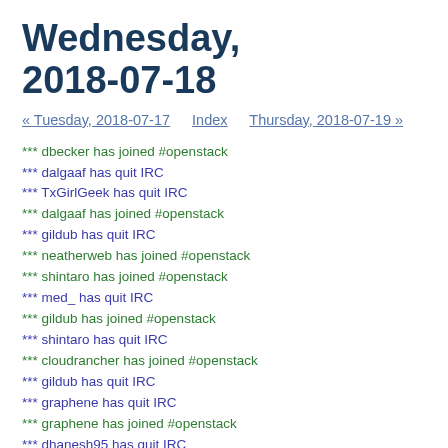Wednesday, 2018-07-18
« Tuesday, 2018-07-17   Index   Thursday, 2018-07-19 »
*** dbecker has joined #openstack
*** dalgaaf has quit IRC
*** TxGirlGeek has quit IRC
*** dalgaaf has joined #openstack
*** gildub has quit IRC
*** neatherweb has joined #openstack
*** shintaro has joined #openstack
*** med_ has quit IRC
*** gildub has joined #openstack
*** shintaro has quit IRC
*** cloudrancher has joined #openstack
*** gildub has quit IRC
*** graphene has quit IRC
*** graphene has joined #openstack
*** dhanesh95 has quit IRC
*** gildub has quit IRC